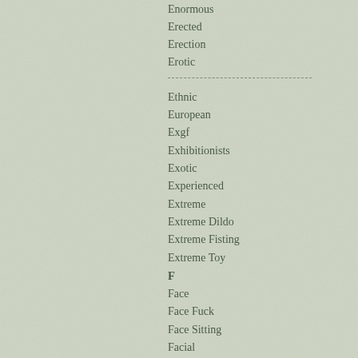Enormous
Erected
Erection
Erotic
Ethnic
European
Exgf
Exhibitionists
Exotic
Experienced
Extreme
Extreme Dildo
Extreme Fisting
Extreme Toy
F
Face
Face Fuck
Face Sitting
Facial
Fake Tits
Fantasy
Farm